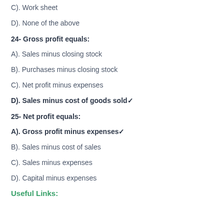C). Work sheet
D). None of the above
24- Gross profit equals:
A). Sales minus closing stock
B). Purchases minus closing stock
C). Net profit minus expenses
D). Sales minus cost of goods sold✔
25- Net profit equals:
A). Gross profit minus expenses✔
B). Sales minus cost of sales
C). Sales minus expenses
D). Capital minus expenses
Useful Links: